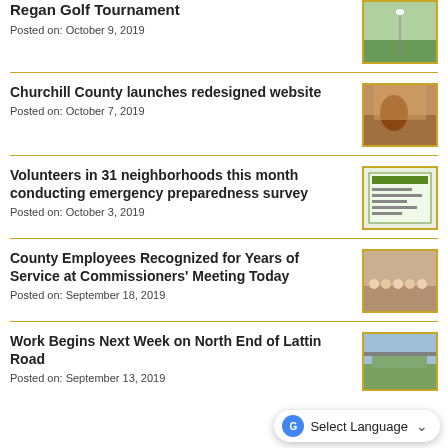Regan Golf Tournament
Posted on: October 9, 2019
[Figure (photo): Golf course photo thumbnail]
Churchill County launches redesigned website
Posted on: October 7, 2019
[Figure (photo): Rodeo/horse photo thumbnail]
Volunteers in 31 neighborhoods this month conducting emergency preparedness survey
Posted on: October 3, 2019
[Figure (photo): Churchill County emergency preparedness flyer thumbnail]
County Employees Recognized for Years of Service at Commissioners' Meeting Today
Posted on: September 18, 2019
[Figure (photo): Group photo of county employees with certificates thumbnail]
Work Begins Next Week on North End of Lattin Road
Posted on: September 13, 2019
[Figure (photo): Road/street photo thumbnail]